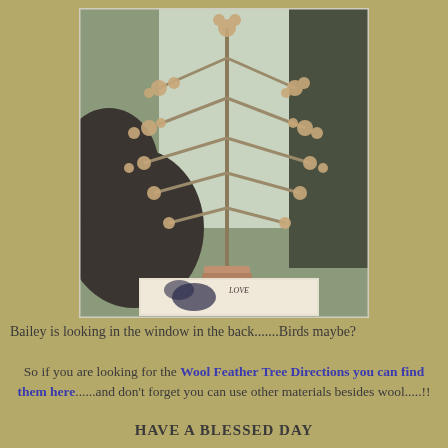[Figure (photo): A handmade wool feather tree on a wooden block base, placed near a window with a cat (Bailey) visible looking toward the window in the background. A book with a butterfly illustration is visible beneath the tree.]
Bailey is looking in the window in the back.......Birds maybe?
So if you are looking for the Wool Feather Tree Directions you can find them here......and don't forget you can use other materials besides wool.....!!
HAVE A BLESSED DAY